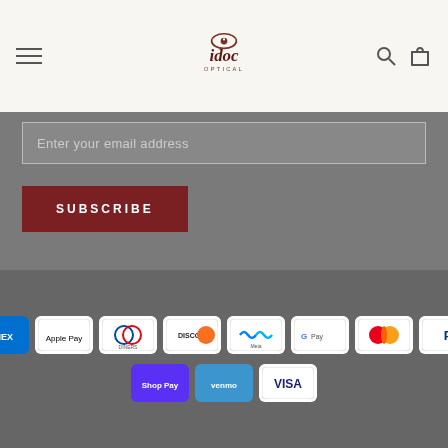[Figure (logo): idoc Optical logo - stylized eye above 'idoc' text with 'OPTICAL' below]
Enter your email address
SUBSCRIBE
© IDOC OPTICAL
[Figure (other): Payment method icons: American Express, Apple Pay, Diners Club, Discover, Meta Pay, Google Pay, Mastercard, PayPal, Shop Pay, Venmo, Visa]